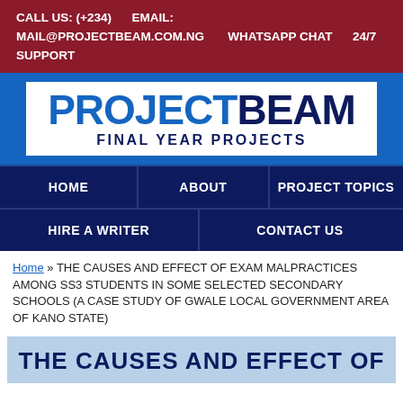CALL US: (+234)   EMAIL:
MAIL@PROJECTBEAM.COM.NG   WHATSAPP CHAT   24/7 SUPPORT
[Figure (logo): ProjectBeam Final Year Projects logo on blue background with white box]
HOME   ABOUT   PROJECT TOPICS   HIRE A WRITER   CONTACT US
Home » THE CAUSES AND EFFECT OF EXAM MALPRACTICES AMONG SS3 STUDENTS IN SOME SELECTED SECONDARY SCHOOLS (A CASE STUDY OF GWALE LOCAL GOVERNMENT AREA OF KANO STATE)
THE CAUSES AND EFFECT OF